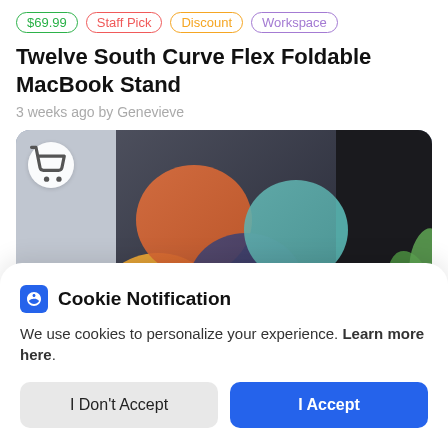$69.99 | Staff Pick | Discount | Workspace
Twelve South Curve Flex Foldable MacBook Stand
3 weeks ago by Genevieve
[Figure (photo): Photo of a MacBook or iPad showing colorful wallpaper with orange, purple and teal gradients, with a shopping cart icon badge overlay]
Cookie Notification
We use cookies to personalize your experience. Learn more here.
I Don't Accept | I Accept